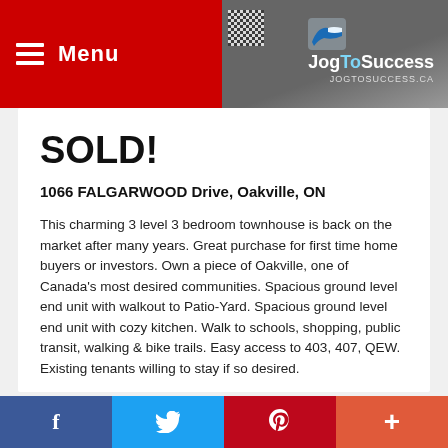[Figure (screenshot): Top navigation bar with red Menu button (hamburger icon + 'Menu' text) on left, and an advertisement banner for JogToSuccess (jogtosuccess.ca) on the right with a QR code]
SOLD!
1066 FALGARWOOD Drive, Oakville, ON
This charming 3 level 3 bedroom townhouse is back on the market after many years. Great purchase for first time home buyers or investors. Own a piece of Oakville, one of Canada's most desired communities. Spacious ground level end unit with walkout to Patio-Yard. Spacious ground level end unit with cozy kitchen. Walk to schools, shopping, public transit, walking & bike trails. Easy access to 403, 407, QEW. Existing tenants willing to stay if so desired.
mjogroyallepage@gmail.com
[Figure (infographic): Bottom social sharing bar with Facebook (blue), Twitter (light blue), Pinterest (red), and Google Plus (orange-red) buttons]